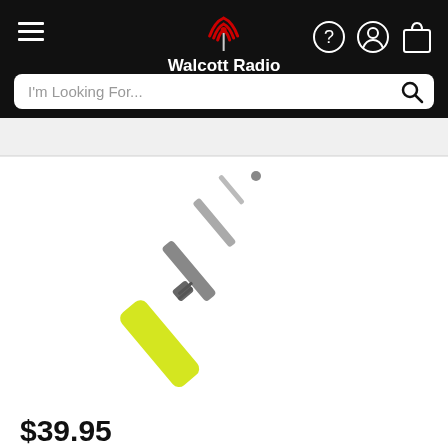[Figure (logo): Walcott Radio logo with red radio tower icon and white bold text 'Walcott Radio' on black background]
I'm Looking For...
[Figure (photo): A telescoping antenna with a yellow base/handle and silver/chrome upper sections, extending diagonally from lower-left to upper-right against a white background]
$39.95